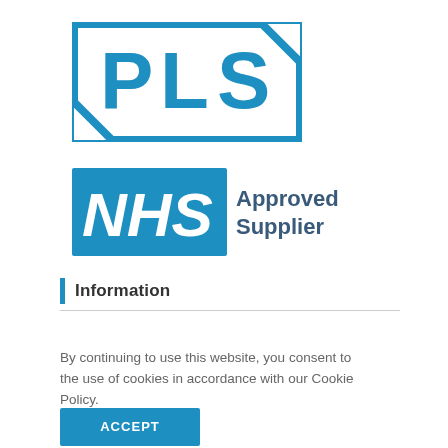[Figure (logo): PLS company logo — bold blue square-bracketed letters P, L, S on white background with blue border]
[Figure (logo): NHS Approved Supplier logo — white NHS letters on blue rectangle, with 'Approved Supplier' text in dark grey/blue next to it]
Information
By continuing to use this website, you consent to the use of cookies in accordance with our Cookie Policy.
ACCEPT